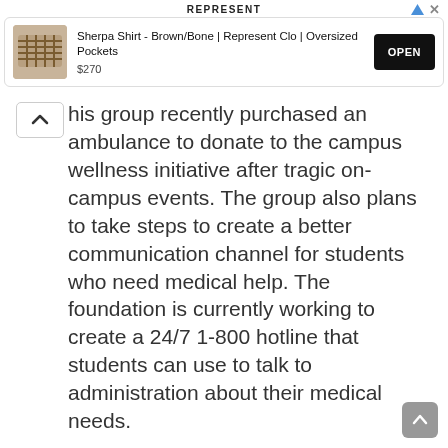[Figure (screenshot): Advertisement banner for 'Represent' brand showing a Sherpa Shirt - Brown/Bone product at $270 with an OPEN button]
his group recently purchased an ambulance to donate to the campus wellness initiative after tragic on-campus events. The group also plans to take steps to create a better communication channel for students who need medical help. The foundation is currently working to create a 24/7 1-800 hotline that students can use to talk to administration about their medical needs.
What is Vinod Gupta Doing Today?
The schools that Vinod helped to establish are